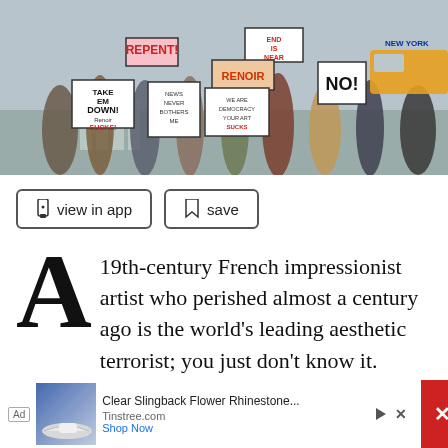[Figure (photo): Protest scene on a city street with demonstrators holding signs reading 'REPENT!', 'TAKE EM DOWN! Renoir SUCKS!', 'NEWS NEVER BOTHERS ME', 'END IS NEAR', 'RENOIR', 'RENOIR SUCKS', and other protest signs against the painter Renoir.]
view in app
save
A 19th-century French impressionist artist who perished almost a century ago is the world's leading aesthetic terrorist; you just don't know it.
Fortunately, the Renoir Sucks at Painting (RSAP)
Ad  Clear Slingback Flower Rhinestone...  Tinstree.com  Shop Now